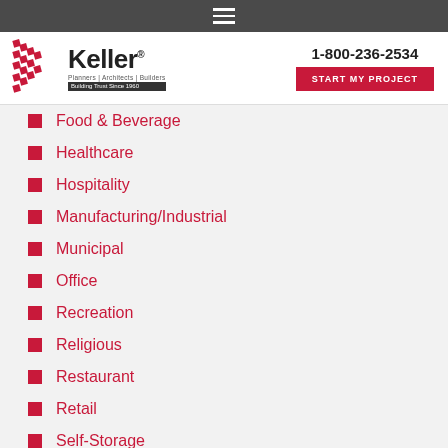[Figure (logo): Keller logo with K icon, Planners Architects Builders, Building Trust Since 1960]
1-800-236-2534
START MY PROJECT
Food & Beverage
Healthcare
Hospitality
Manufacturing/Industrial
Municipal
Office
Recreation
Religious
Restaurant
Retail
Self-Storage
Senior Living